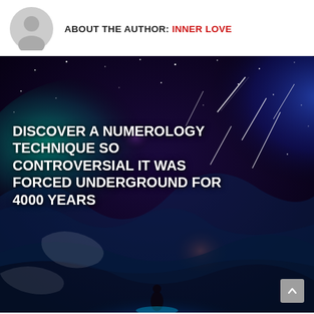ABOUT THE AUTHOR: INNER LOVE
[Figure (illustration): Cosmic fantasy illustration showing a figure standing beneath a swirling galaxy sky with shooting stars, nebulae in blue, teal, purple and red hues. Overlaid bold white text reads: DISCOVER A NUMEROLOGY TECHNIQUE SO CONTROVERSIAL IT WAS FORCED UNDERGROUND FOR 4000 YEARS]